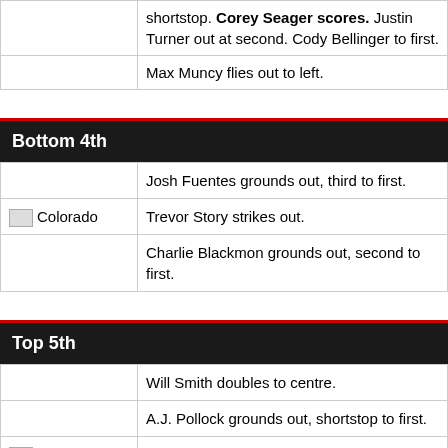| Team | Play |
| --- | --- |
|  | shortstop. Corey Seager scores. Justin Turner out at second. Cody Bellinger to first. |
|  | Max Muncy flies out to left. |
Bottom 4th
| Team | Play |
| --- | --- |
|  | Josh Fuentes grounds out, third to first. |
| Colorado | Trevor Story strikes out. |
|  | Charlie Blackmon grounds out, second to first. |
Top 5th
| Team | Play |
| --- | --- |
|  | Will Smith doubles to centre. |
|  | A.J. Pollock grounds out, shortstop to first. |
| LA Dodgers | Gavin Lux triples to centre. Will Smith scores. |
|  | Trevor Bauer strikes out. |